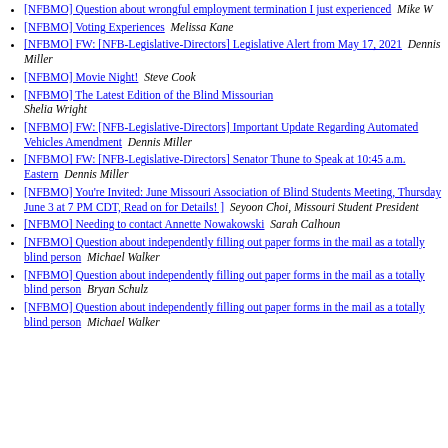[NFBMO] Question about wrongful employment termination I just experienced   Mike W
[NFBMO] Voting Experiences   Melissa Kane
[NFBMO] FW: [NFB-Legislative-Directors] Legislative Alert from May 17, 2021   Dennis Miller
[NFBMO] Movie Night!   Steve Cook
[NFBMO] The Latest Edition of the Blind Missourian   Shelia Wright
[NFBMO] FW: [NFB-Legislative-Directors] Important Update Regarding Automated Vehicles Amendment   Dennis Miller
[NFBMO] FW: [NFB-Legislative-Directors] Senator Thune to Speak at 10:45 a.m. Eastern   Dennis Miller
[NFBMO] You're Invited: June Missouri Association of Blind Students Meeting, Thursday June 3 at 7 PM CDT, Read on for Details! ]   Seyoon Choi, Missouri Student President
[NFBMO] Needing to contact Annette Nowakowski   Sarah Calhoun
[NFBMO] Question about independently filling out paper forms in the mail as a totally blind person   Michael Walker
[NFBMO] Question about independently filling out paper forms in the mail as a totally blind person   Bryan Schulz
[NFBMO] Question about independently filling out paper forms in the mail as a totally blind person   Michael Walker